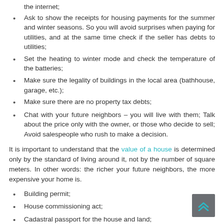the internet;
Ask to show the receipts for housing payments for the summer and winter seasons. So you will avoid surprises when paying for utilities, and at the same time check if the seller has debts to utilities;
Set the heating to winter mode and check the temperature of the batteries;
Make sure the legality of buildings in the local area (bathhouse, garage, etc.);
Make sure there are no property tax debts;
Chat with your future neighbors – you will live with them; Talk about the price only with the owner, or those who decide to sell; Avoid salespeople who rush to make a decision.
It is important to understand that the value of a house is determined only by the standard of living around it, not by the number of square meters. In other words: the richer your future neighbors, the more expensive your home is.
Building permit;
House commissioning act;
Cadastral passport for the house and land;